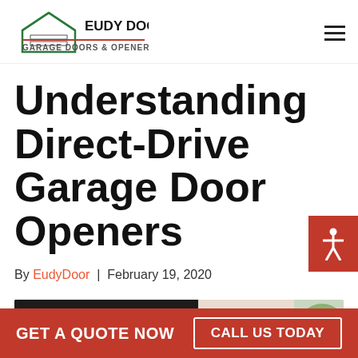Eudy Door Co. Garage Doors & Openers
Understanding Direct-Drive Garage Door Openers
By EudyDoor | February 19, 2020
[Figure (photo): Exterior photo of a dark modern garage door with white wall and green foliage in background]
GET A QUOTE NOW   CALL US TODAY